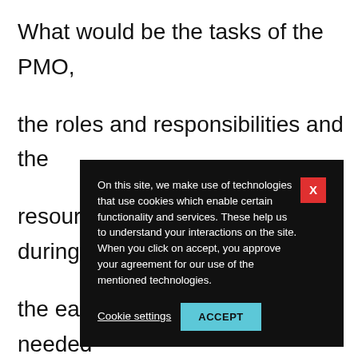What would be the tasks of the PMO, the roles and responsibilities and the resources were all chalked out during the earlier phases. What is needed now is the actual transfer of projects to the PMO so that they can be handled through it. Based on the clearly [obscured] commu[nication] governa[nce] the pilo[t] the actu[al] to the e[nd] respons[ibilities] also ga[in] understands its optimal utilization
On this site, we make use of technologies that use cookies which enable certain functionality and services. These help us to understand your interactions on the site. When you click on accept, you approve your agreement for our use of the mentioned technologies.
Cookie settings    ACCEPT